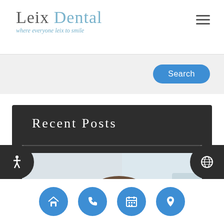Leix Dental — where everyone leix to smile
[Figure (screenshot): Search button on light grey background]
Recent Posts
[Figure (photo): Dentist in white uniform with glasses standing in dental clinic]
[Figure (infographic): Bottom navigation bar with home, phone, calendar, and location icons in blue circles]